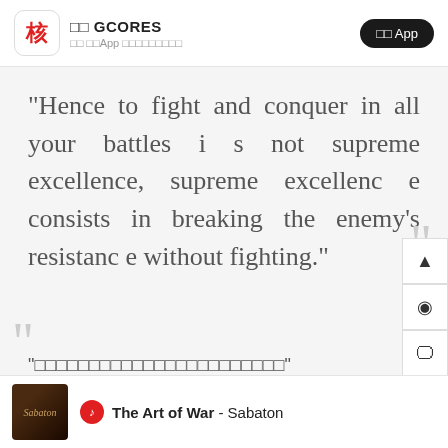核 GCORES 在 该App 上阅读这篇文章
“Hence to fight and conquer in all your battles is not supreme excellence, supreme excellence consists in breaking the enemy’s resistance without fighting.”
“□□□□□□□□□□□□□□□□□□□□□□□”
The Art of War - Sabaton